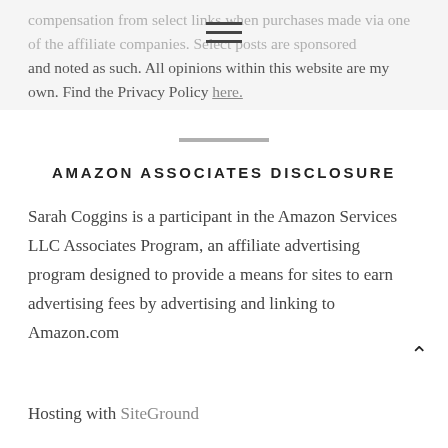compensation from select links when purchases made via one of the affiliate companies. Select posts are sponsored and noted as such. All opinions within this website are my own. Find the Privacy Policy here.
AMAZON ASSOCIATES DISCLOSURE
Sarah Coggins is a participant in the Amazon Services LLC Associates Program, an affiliate advertising program designed to provide a means for sites to earn advertising fees by advertising and linking to Amazon.com
Hosting with SiteGround